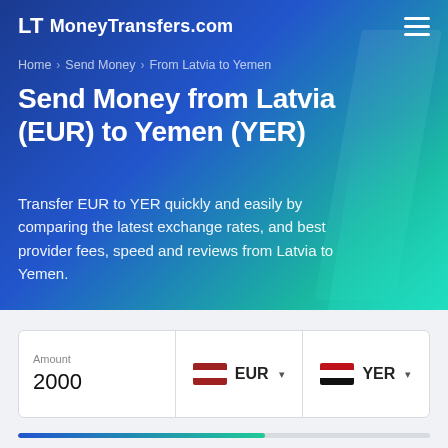LT MoneyTransfers.com
Home > Send Money > From Latvia to Yemen
Send Money from Latvia (EUR) to Yemen (YER)
Transfer EUR to YER quickly and easily by comparing the latest exchange rates, and best provider fees, speed and reviews from Latvia to Yemen.
| Amount | EUR | YER |
| --- | --- | --- |
| 2000 | EUR ▾ | YER ▾ |